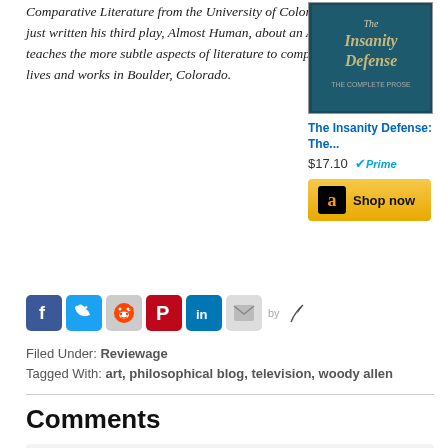Comparative Literature from the University of Colorado. He has just written his third play, Almost Human, about an AI startup that teaches the more subtle aspects of literature to computers. Joey lives and works in Boulder, Colorado.
[Figure (illustration): Book cover for 'The Insanity Defense' with teal/dark blue background and cream text]
The Insanity Defense: The... $17.10 Prime
[Figure (other): Amazon 'Shop now' button with gold background and Amazon logo]
[Figure (other): Social media sharing icons: Facebook, Twitter, Reddit, Pinterest, LinkedIn, Email, by feather]
Filed Under: Reviewage
Tagged With: art, philosophical blog, television, woody allen
Comments
s. wallerstein says